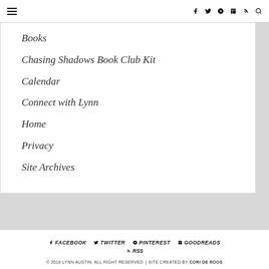≡  f  twitter  pinterest  goodreads  rss  search
Books
Chasing Shadows Book Club Kit
Calendar
Connect with Lynn
Home
Privacy
Site Archives
FACEBOOK  TWITTER  PINTEREST  GOODREADS  RSS  © 2016 Lynn Austin. All Right Reserved. | Site Created By CORI DE ROOS